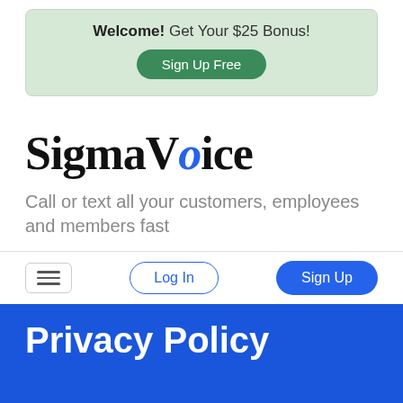[Figure (screenshot): Promotional banner with light green background showing 'Welcome! Get Your $25 Bonus!' and a green 'Sign Up Free' button]
SigmaVoice
Call or text all your customers, employees and members fast
[Figure (screenshot): Navigation bar with hamburger menu icon, 'Log In' button with blue outline, and 'Sign Up' blue filled button]
Privacy Policy